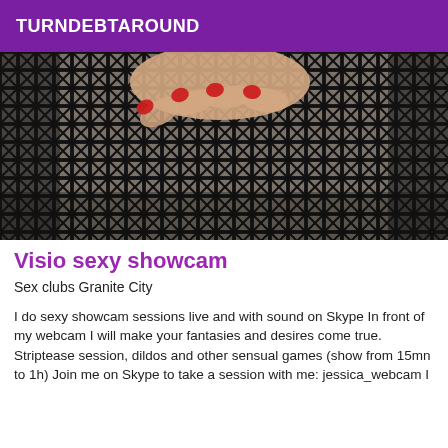TURNDEBTAROUND
[Figure (photo): Close-up photo of a hand with red fingernails touching/gripping black fishnet stockings]
Visio sexy showcam
Sex clubs Granite City
I do sexy showcam sessions live and with sound on Skype In front of my webcam I will make your fantasies and desires come true. Striptease session, dildos and other sensual games (show from 15mn to 1h) Join me on Skype to take a session with me: jessica_webcam I